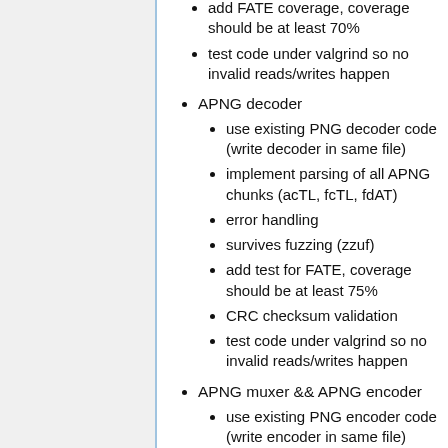add FATE coverage, coverage should be at least 70%
test code under valgrind so no invalid reads/writes happen
APNG decoder
use existing PNG decoder code (write decoder in same file)
implement parsing of all APNG chunks (acTL, fcTL, fdAT)
error handling
survives fuzzing (zzuf)
add test for FATE, coverage should be at least 75%
CRC checksum validation
test code under valgrind so no invalid reads/writes happen
APNG muxer && APNG encoder
use existing PNG encoder code (write encoder in same file)